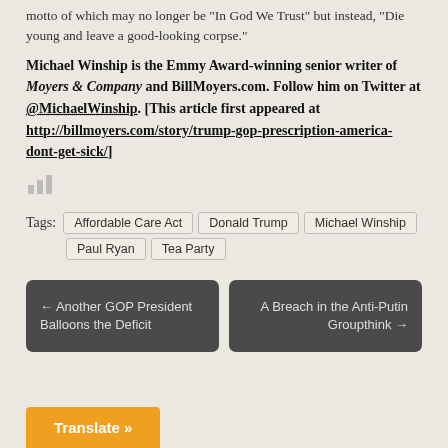motto of which may no longer be “In God We Trust” but instead, “Die young and leave a good-looking corpse.”
Michael Winship is the Emmy Award-winning senior writer of Moyers & Company and BillMoyers.com. Follow him on Twitter at @MichaelWinship. [This article first appeared at http://billmoyers.com/story/trump-gop-prescription-america-dont-get-sick/]
[Figure (other): Small bar chart icon in gray]
Tags: Affordable Care Act  Donald Trump  Michael Winship  Paul Ryan  Tea Party
← Another GOP President Balloons the Deficit
A Breach in the Anti-Putin Groupthink →
Translate »